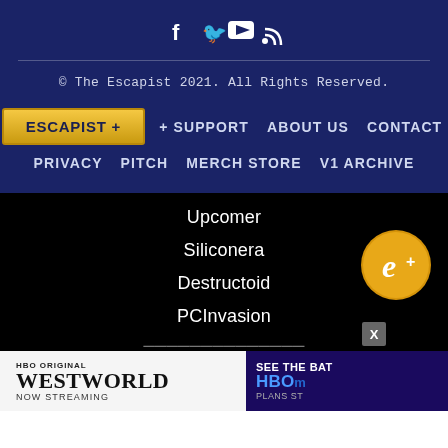[Figure (infographic): Social media icons: Facebook (f), Twitter (bird), YouTube (play), RSS (signal) in white on dark blue background]
© The Escapist 2021. All Rights Reserved.
ESCAPIST +
+ SUPPORT
ABOUT US
CONTACT
PRIVACY
PITCH
MERCH STORE
V1 ARCHIVE
Upcomer
Siliconera
Destructoid
PCInvasion
[Figure (logo): Escapist+ golden circular badge with stylized 'e+' in white script]
[Figure (infographic): Advertisement bar: HBO Original Westworld Now Streaming (left), See The Bat / HBOM / PLANS ST (right, dark blue)]